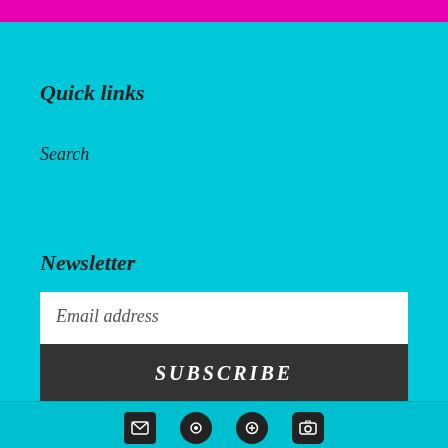Quick links
Search
Newsletter
Email address
SUBSCRIBE